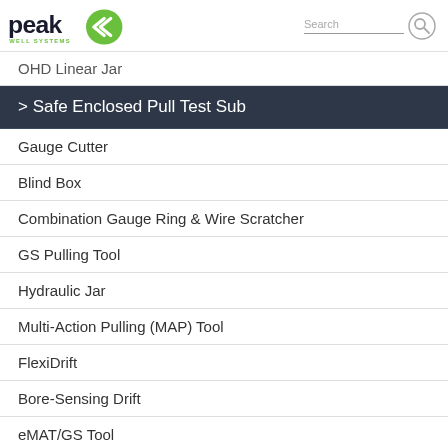Peak Well Systems
OHD Linear Jar
> Safe Enclosed Pull Test Sub
Gauge Cutter
Blind Box
Combination Gauge Ring & Wire Scratcher
GS Pulling Tool
Hydraulic Jar
Multi-Action Pulling (MAP) Tool
FlexiDrift
Bore-Sensing Drift
eMAT/GS Tool